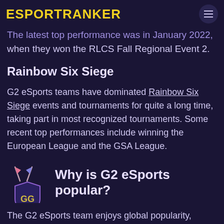ESPORTRANKER
team typically uses calculated coordination but with approach that has proven very effective. The latest top performance was in January 2022, when they won the RLCS Fall Regional Event 2.
Rainbow Six Siege
G2 eSports teams have dominated Rainbow Six Siege events and tournaments for quite a long time, taking part in most recognized tournaments. Some recent top performances include winning the European League and the GSA League.
[Figure (logo): GG crossed flags and shield logo icon]
Why is G2 eSports popular?
The G2 eSports team enjoys global popularity, especially among punters. Most eSports bettors usually bet on the team, especially for the games